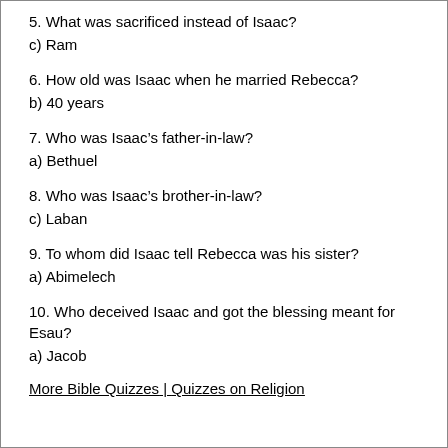5. What was sacrificed instead of Isaac?
c) Ram
6. How old was Isaac when he married Rebecca?
b) 40 years
7. Who was Isaac's father-in-law?
a) Bethuel
8. Who was Isaac's brother-in-law?
c) Laban
9. To whom did Isaac tell Rebecca was his sister?
a) Abimelech
10. Who deceived Isaac and got the blessing meant for Esau?
a) Jacob
More Bible Quizzes | Quizzes on Religion